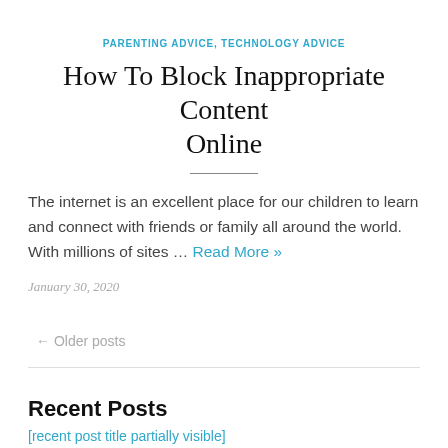PARENTING ADVICE, TECHNOLOGY ADVICE
How To Block Inappropriate Content Online
The internet is an excellent place for our children to learn and connect with friends or family all around the world. With millions of sites … Read More »
January 30, 2020
← Older posts
Recent Posts
[recent post link — partially visible]